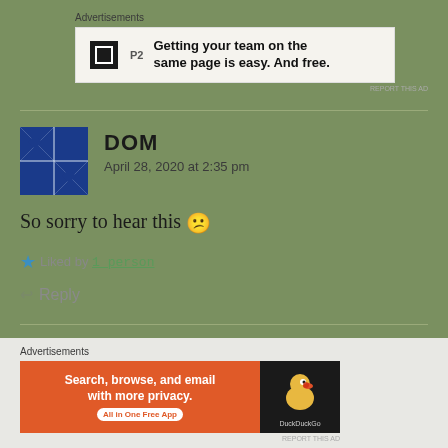Advertisements
[Figure (infographic): P2 advertisement banner: Getting your team on the same page is easy. And free.]
DOM
April 28, 2020 at 2:35 pm
So sorry to hear this 😕
★ Liked by 1 person
↩ Reply
Advertisements
[Figure (infographic): DuckDuckGo advertisement: Search, browse, and email with more privacy. All in One Free App.]